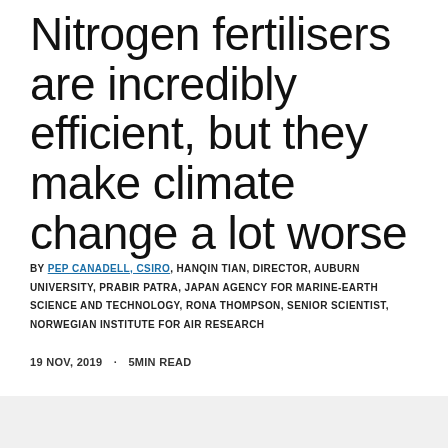Nitrogen fertilisers are incredibly efficient, but they make climate change a lot worse
BY PEP CANADELL, CSIRO, HANQIN TIAN, DIRECTOR, AUBURN UNIVERSITY, PRABIR PATRA, JAPAN AGENCY FOR MARINE-EARTH SCIENCE AND TECHNOLOGY, RONA THOMPSON, SENIOR SCIENTIST, NORWEGIAN INSTITUTE FOR AIR RESEARCH
19 NOV, 2019 · 5MIN READ